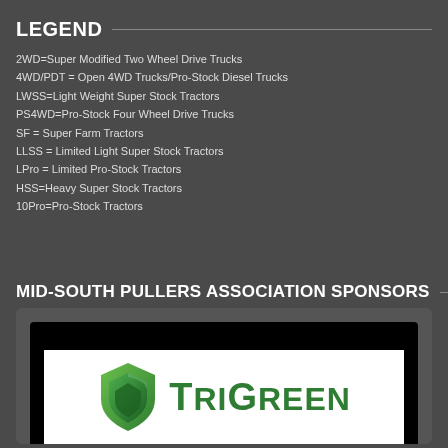LEGEND
2WD=Super Modified Two Wheel Drive Trucks
4WD/PDT = Open 4WD Trucks/Pro-Stock Diesel Trucks
LWSS=Light Weight Super Stock Tractors
PS4WD=Pro-Stock Four Wheel Drive Trucks
SF = Super Farm Tractors
LLSS = Limited Light Super Stock Tractors
LPro = Limited Pro-Stock Tractors
HSS=Heavy Super Stock Tractors
10Pro=Pro-Stock Tractors
MID-SOUTH PULLERS ASSOCIATION SPONSORS
[Figure (logo): TriGreen logo with green shield icon and green bold text reading TriGreen on white background]